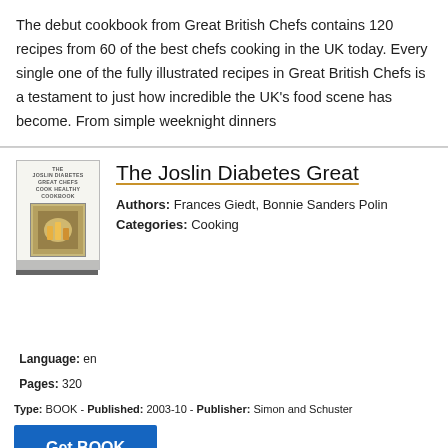The debut cookbook from Great British Chefs contains 120 recipes from 60 of the best chefs cooking in the UK today. Every single one of the fully illustrated recipes in Great British Chefs is a testament to just how incredible the UK's food scene has become. From simple weeknight dinners
[Figure (illustration): Book cover of The Joslin Diabetes Great Chefs Cook Healthy Cookbook with a small food photograph in the center]
The Joslin Diabetes Great
Authors: Frances Giedt, Bonnie Sanders Polin
Language: en
Pages: 320
Categories: Cooking
Type: BOOK - Published: 2003-10 - Publisher: Simon and Schuster
Get BOOK
Presents more than 135 special occasion recipes from